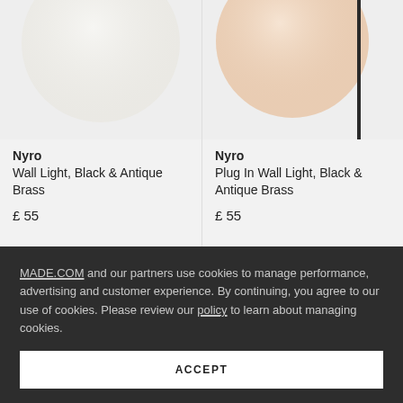[Figure (photo): Product photo of Nyro Wall Light showing a globe-shaped frosted white/cream lamp shade on a light grey background, cropped at top]
Nyro
Wall Light, Black & Antique Brass
£ 55
[Figure (photo): Product photo of Nyro Plug In Wall Light showing a globe-shaped peach/cream lamp shade with black vertical pole on a light grey background, cropped at top]
Nyro
Plug In Wall Light, Black & Antique Brass
£ 55
MADE.COM and our partners use cookies to manage performance, advertising and customer experience. By continuing, you agree to our use of cookies. Please review our policy to learn about managing cookies.
ACCEPT